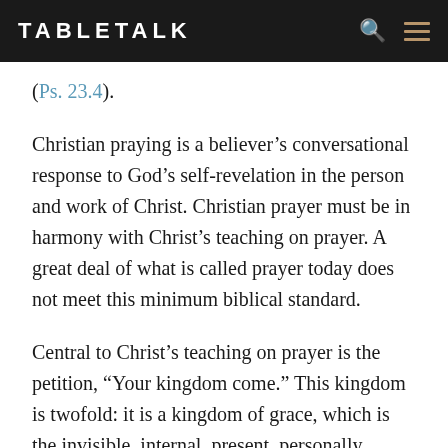TABLETALK
(Ps. 23.4).
Christian praying is a believer's conversational response to God's self-revelation in the person and work of Christ. Christian prayer must be in harmony with Christ's teaching on prayer. A great deal of what is called prayer today does not meet this minimum biblical standard.
Central to Christ's teaching on prayer is the petition, “Your kingdom come.” This kingdom is twofold: it is a kingdom of grace, which is the invisible, internal, present, personally experienced rule of God in each believer (see Rom. 14:17). It is also the future kingdom of glory, God’s future